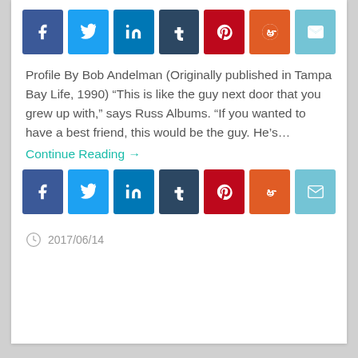[Figure (infographic): Row of social share buttons: Facebook (blue), Twitter (light blue), LinkedIn (blue), Tumblr (dark navy), Pinterest (red), Reddit (orange-red), Email (light cyan)]
Profile By Bob Andelman (Originally published in Tampa Bay Life, 1990) “This is like the guy next door that you grew up with,” says Russ Albums. “If you wanted to have a best friend, this would be the guy. He’s…
Continue Reading →
[Figure (infographic): Row of social share buttons: Facebook (blue), Twitter (light blue), LinkedIn (blue), Tumblr (dark navy), Pinterest (red), Reddit (orange-red), Email (light cyan)]
2017/06/14